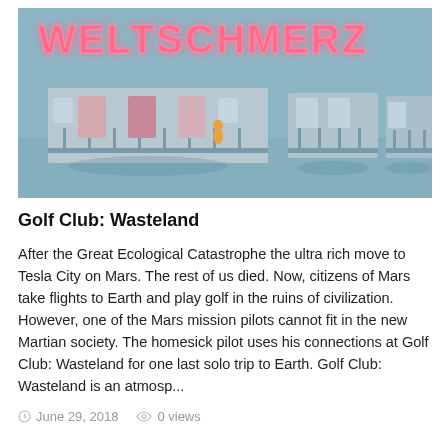[Figure (photo): Artistic scene showing motel-like building balconies with a muted teal/grey background and a neon sign reading 'WELTSCHMERZ' in pink/red letters. A small orange figure stands on one balcony.]
Golf Club: Wasteland
After the Great Ecological Catastrophe the ultra rich move to Tesla City on Mars. The rest of us died. Now, citizens of Mars take flights to Earth and play golf in the ruins of civilization. However, one of the Mars mission pilots cannot fit in the new Martian society. The homesick pilot uses his connections at Golf Club: Wasteland for one last solo trip to Earth. Golf Club: Wasteland is an atmosp...
June 29, 2018   0 views